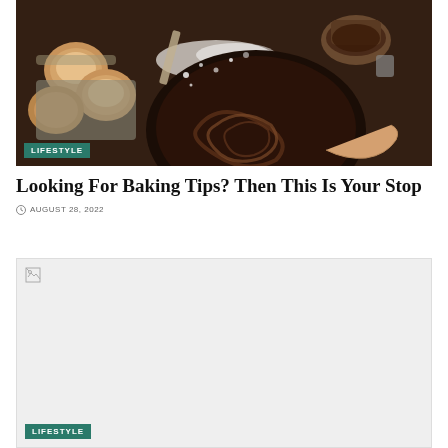[Figure (photo): Dark rustic baking scene with eggs, flour, mixing bowl with chocolate batter, and baking implements on a dark wooden surface. A teal 'LIFESTYLE' badge is overlaid at the bottom left.]
Looking For Baking Tips? Then This Is Your Stop
AUGUST 28, 2022
[Figure (photo): Broken/unloaded image placeholder (light gray rectangle with small broken image icon in top-left). A teal 'LIFESTYLE' badge is overlaid at the bottom left.]